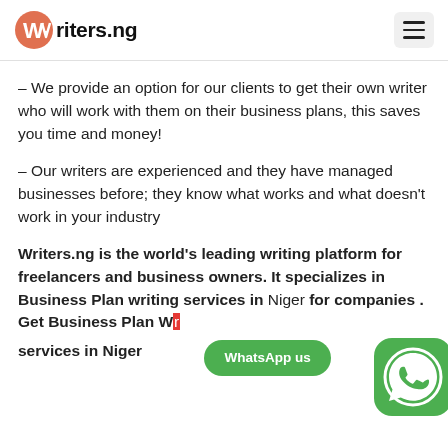Writers.ng
– We provide an option for our clients to get their own writer who will work with them on their business plans, this saves you time and money!
– Our writers are experienced and they have managed businesses before; they know what works and what doesn't work in your industry
Writers.ng is the world's leading writing platform for freelancers and business owners. It specializes in Business Plan writing services in Niger for companies . Get Business Plan Writing services in Niger